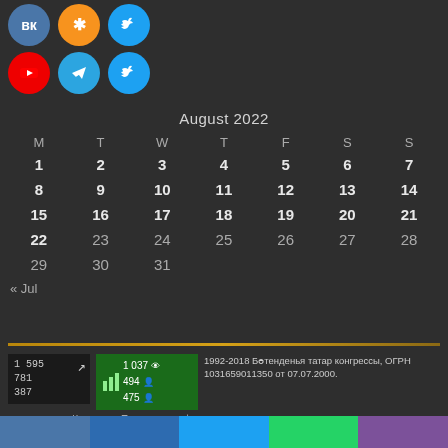[Figure (illustration): Social media icons row 1: VK (dark blue), OK (orange), Twitter (blue) — partial/cropped circles at top]
[Figure (illustration): Social media icons row 2: YouTube (red), Telegram (blue), Twitter (blue) circular icons]
| M | T | W | T | F | S | S |
| --- | --- | --- | --- | --- | --- | --- |
| 1 | 2 | 3 | 4 | 5 | 6 | 7 |
| 8 | 9 | 10 | 11 | 12 | 13 | 14 |
| 15 | 16 | 17 | 18 | 19 | 20 | 21 |
| 22 | 23 | 24 | 25 | 26 | 27 | 28 |
| 29 | 30 | 31 |  |  |  |  |
« Jul
[Figure (screenshot): Small stats widget showing: 1 595 / 781 / 387 with upward arrow]
[Figure (screenshot): Green widget showing: 1 037 (eye icon), 494 (person icon), 475 (person icon), with bar chart icon]
1992-2018 Бөтенденья татар конгрессы, ОГРН 1031659011350 от 07.07.2000.
Контакты. Политика конфиденциальности персональных данных
Все материалы сайта доступны по лицензии Creative Commons Attribution 4.0 International.
[Figure (illustration): Bottom social media bar with colored segments: VK, Facebook, Twitter, WhatsApp, Viber]